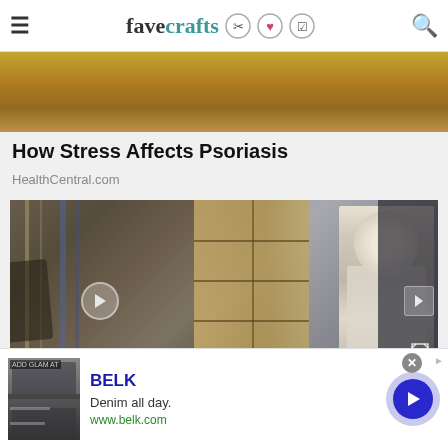favecrafts
[Figure (photo): Close-up photo of yellow stuffed animal or fuzzy yellow fabric]
How Stress Affects Psoriasis
HealthCentral.com
[Figure (screenshot): Video player showing two panels: left side shows a blurred pharmacy/store scene, right side shows a woman standing in a craft room with shelving unit. Play button overlay visible, progress bar at bottom with blue dot.]
[Figure (photo): Advertisement banner for BELK showing fashion photos, text 'BELK', 'Denim all day.', 'www.belk.com', and a blue circular CTA arrow button]